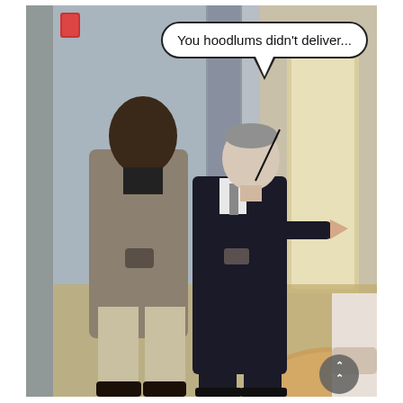[Figure (photo): Two men in business attire standing and talking in an indoor hallway or lobby setting. The man on the left wears a tan/khaki suit and holds an item. The man on the right wears a dark suit and points a finger toward the man on the left. A speech bubble overlaid on the image reads: 'You hoodlums didn't deliver...' A navigation arrow icon appears in the lower right corner.]